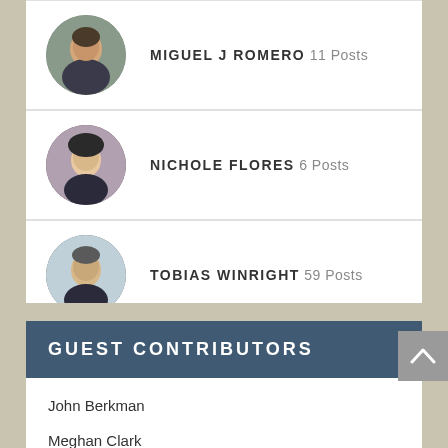MIGUEL J ROMERO 11 Posts
NICHOLE FLORES 6 Posts
TOBIAS WINRIGHT 59 Posts
GUEST CONTRIBUTORS
John Berkman
Meghan Clark
Nichole Flores
Andrew Kim
Ramon Luzarraga